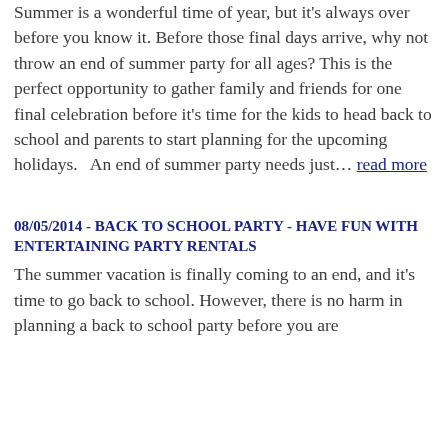Summer is a wonderful time of year, but it's always over before you know it. Before those final days arrive, why not throw an end of summer party for all ages? This is the perfect opportunity to gather family and friends for one final celebration before it's time for the kids to head back to school and parents to start planning for the upcoming holidays.   An end of summer party needs just... read more
08/05/2014 - BACK TO SCHOOL PARTY - HAVE FUN WITH ENTERTAINING PARTY RENTALS
The summer vacation is finally coming to an end, and it's time to go back to school. However, there is no harm in planning a back to school party before you are